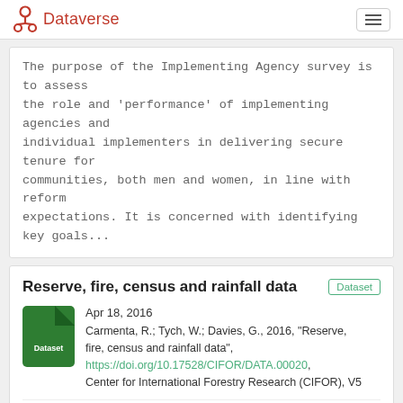Dataverse
The purpose of the Implementing Agency survey is to assess the role and ‘performance’ of implementing agencies and individual implementers in delivering secure tenure for communities, both men and women, in line with reform expectations. It is concerned with identifying key goals...
Reserve, fire, census and rainfall data
Apr 18, 2016
Carmenta, R.; Tych, W.; Davies, G., 2016, "Reserve, fire, census and rainfall data", https://doi.org/10.17528/CIFOR/DATA.00020, Center for International Forestry Research (CIFOR), V5
This data includes census, geographic, fire and rainfall data for sustainable use reserves in the Brazilian Amazon
Replication data for:Spatial variability of